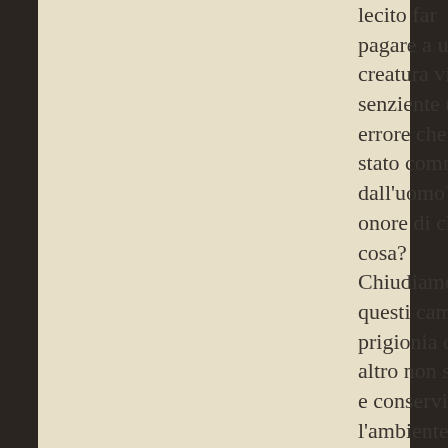lecito far pagare a una creatura viva e senziente un errore che è stato commesso dall'uomo?!in onore di che cosa? Chiudiamo questi campi di prigionia che altro non sono e conserviamo l'ambiente naturale (anche per noi tra l'altro),pura utopia dirai tu, concordo!